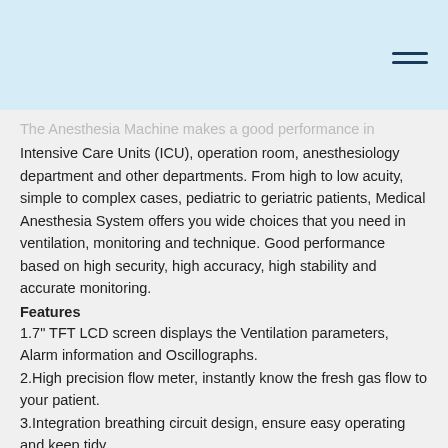The Anesthesia Machine makes a good performance in Intensive Care Units (ICU), operation room, anesthesiology department and other departments. From high to low acuity, simple to complex cases, pediatric to geriatric patients, Medical Anesthesia System offers you wide choices that you need in ventilation, monitoring and technique. Good performance based on high security, high accuracy, high stability and accurate monitoring.
Features
1.7" TFT LCD screen displays the Ventilation parameters, Alarm information and Oscillographs.
2.High precision flow meter, instantly know the fresh gas flow to your patient.
3.Integration breathing circuit design, ensure easy operating and keep tidy.
4.Multiple working modes such as volume control and pressure limit, adapt to wide range patient.
5.Vaporizer with temperature, flow compensation and self-lock function .